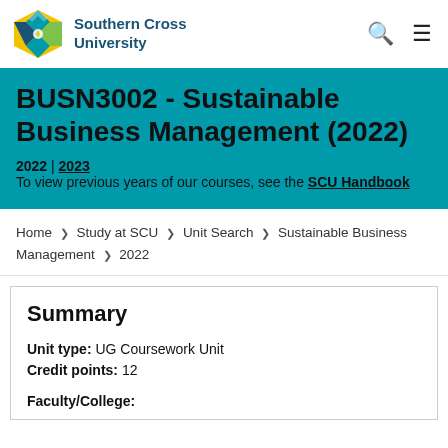Southern Cross University
BUSN3002 - Sustainable Business Management (2022)
2022 | 2023
To view previous years of our courses, see the SCU Handbook
Home > Study at SCU > Unit Search > Sustainable Business Management > 2022
Summary
Unit type: UG Coursework Unit
Credit points: 12

Faculty/College: